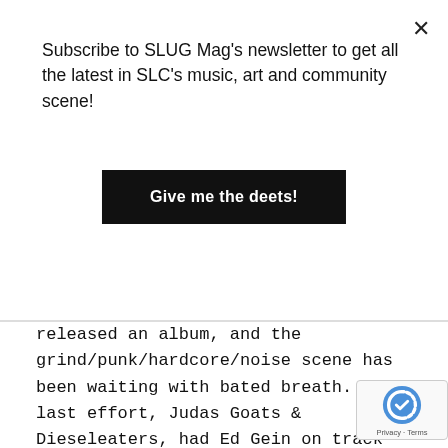Subscribe to SLUG Mag's newsletter to get all the latest in SLC's music, art and community scene!
Give me the deets!
released an album, and the grind/punk/hardcore/noise scene has been waiting with bated breath. The last effort, Judas Goats & Dieseleaters, had Ed Gein on track for grind/noisecore/hardcore superstardom, with their relentless touring and building upon their name, then seemingly mysteriously dropping off every press and even fans' radars for years. The band did not break up, it just took a break. Really didn't harm them—years of complete absence can stir up great expectations